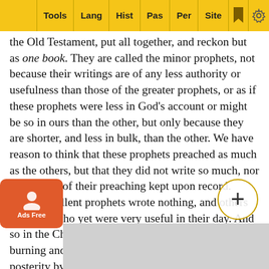Tools | Lang | Hist | Pas | Per | Site
the Old Testament, put all together, and reckon but as one book. They are called the minor prophets, not because their writings are of any less authority or usefulness than those of the greater prophets, or as if these prophets were less in God's account or might be so in ours than the other, but only because they are shorter, and less in bulk, than the other. We have reason to think that these prophets preached as much as the others, but that they did not write so much, nor is so much of their preaching kept upon record. Many excellent prophets wrote nothing, and others but little, who yet were very useful in their day. And so in the Christian church there have been many burning and shining lights, who are not known to posterity by their writings, and yet were no way inferior in gifts, and graces, and serviceableness to their own generation, than those t... and some who have left but little behind them, and make no great figure among authors, were yet as valuable men ... all propl... the